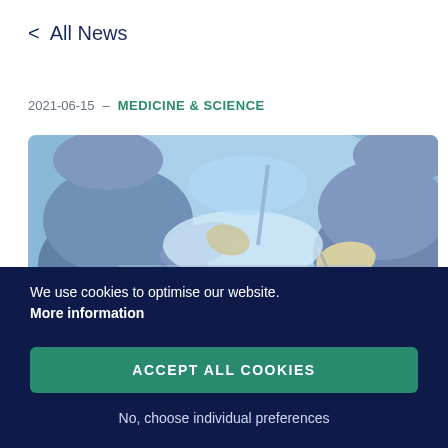< All News
2021-06-15 – MEDICINE & SCIENCE
[Figure (photo): Two surgeons in blue scrubs and masks performing an operation, hands visible with surgical instruments, bright blue-white lighting in operating room]
We use cookies to optimise our website. More information
ACCEPT ALL COOKIES
No, choose individual preferences